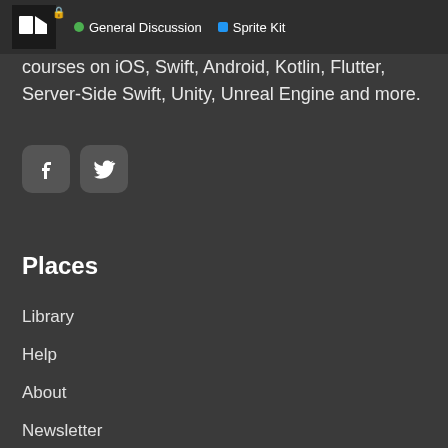General Discussion · Sprite Kit
courses on iOS, Swift, Android, Kotlin, Flutter, Server-Side Swift, Unity, Unreal Engine and more.
[Figure (logo): Facebook and Twitter social media icons]
Places
Library
Help
About
Newsletter
Forums
Podcast